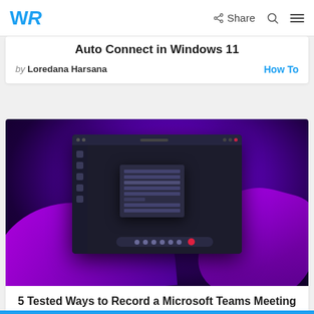WR [logo] | Share | Search | Menu
Auto Connect in Windows 11
by Loredana Harsana   How To
[Figure (screenshot): Screenshot of Microsoft Teams application on a Windows 11 desktop with a dark theme, showing a context menu open with various options including a red record button, against a purple Windows 11 wallpaper background.]
5 Tested Ways to Record a Microsoft Teams Meeting [2022 Guide]